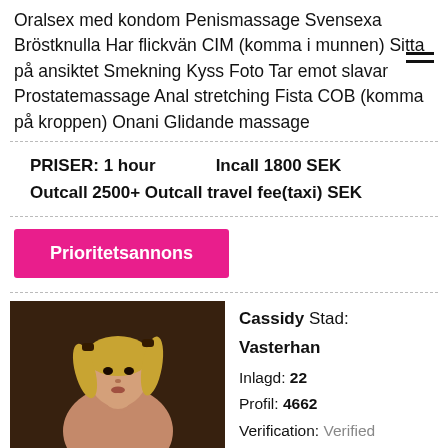Oralsex med kondom Penismassage Svensexa Bröstknulla Har flickvän CIM (komma i munnen) Sitta på ansiktet Smekning Kyss Foto Tar emot slavar Prostatemassage Anal stretching Fista COB (komma på kroppen) Onani Glidande massage
PRISER: 1 hour   Incall 1800 SEK
Outcall 2500+ Outcall travel fee(taxi) SEK
Prioritetsannons
[Figure (photo): Photo of a young blonde woman with pigtails, looking pensive, against a dark background]
Cassidy  Stad: Vasterhan...
Inlagd: 22...
Profil: 4662...
Verification: Verified
[Figure (photo): Circular thumbnail photo showing a person's torso]